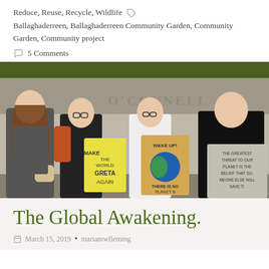Reduce, Reuse, Recycle, Wildlife
Ballaghaderreen, Ballaghaderreen Community Garden, Community Garden, Community project
5 Comments
[Figure (photo): Four young women standing in front of a stone building holding protest signs at a climate strike. Signs read: 'Make the world Greta again', 'Wake up! There is no planet B', and 'The greatest threat to our planet is the belief that someone else will save it.']
The Global Awakening.
March 15, 2019 • mariamwfleming